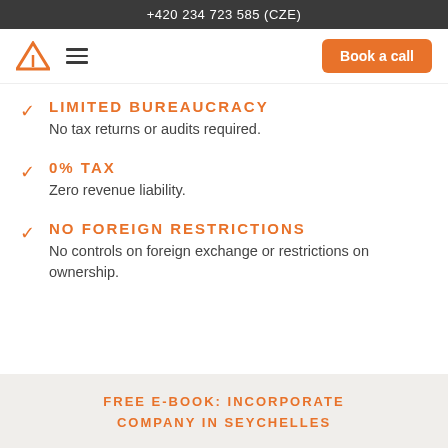+420 234 723 585 (CZE)
LIMITED BUREAUCRACY
No tax returns or audits required.
0% TAX
Zero revenue liability.
NO FOREIGN RESTRICTIONS
No controls on foreign exchange or restrictions on ownership.
FREE E-BOOK: INCORPORATE COMPANY IN SEYCHELLES